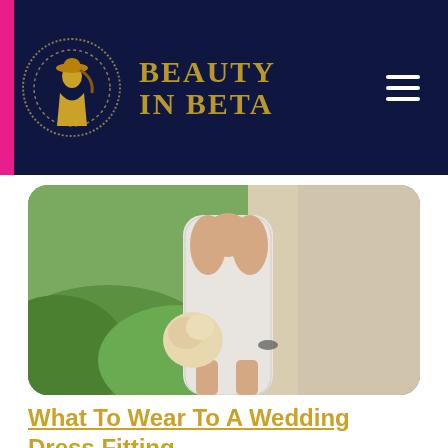BEAUTY IN BETA
[Figure (photo): A bride in a white lace strapless wedding dress holding a bouquet, standing outdoors with greenery in the background.]
What To Wear To A Wedding Dress Fitting
As a bride planning her wedding, you may already have ideas of what you want to wear on your big day. It may all be up in your head, or you may even h